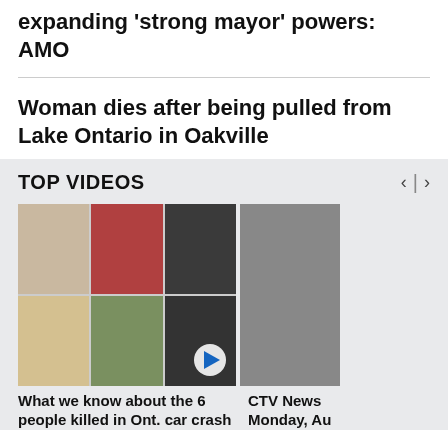expanding 'strong mayor' powers: AMO
Woman dies after being pulled from Lake Ontario in Oakville
TOP VIDEOS
[Figure (photo): Collage of 6 portraits of people killed in Ontario car crash]
[Figure (photo): CTV News anchor in studio]
What we know about the 6 people killed in Ont. car crash
CTV News Monday, Au